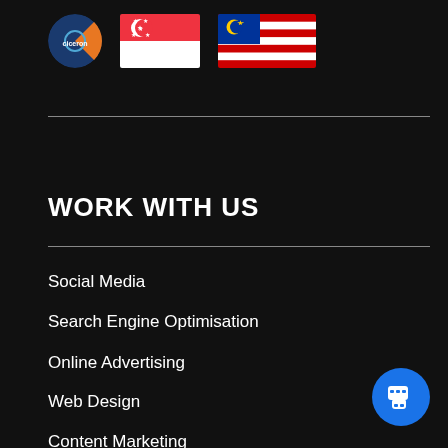[Figure (logo): Company logo circle with blue and orange design, Singapore flag, Malaysia flag]
WORK WITH US
Social Media
Search Engine Optimisation
Online Advertising
Web Design
Content Marketing